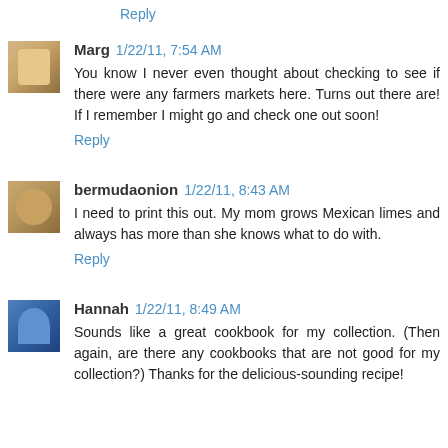Reply
Marg 1/22/11, 7:54 AM
You know I never even thought about checking to see if there were any farmers markets here. Turns out there are! If I remember I might go and check one out soon!
Reply
bermudaonion 1/22/11, 8:43 AM
I need to print this out. My mom grows Mexican limes and always has more than she knows what to do with.
Reply
Hannah 1/22/11, 8:49 AM
Sounds like a great cookbook for my collection. (Then again, are there any cookbooks that are not good for my collection?) Thanks for the delicious-sounding recipe!